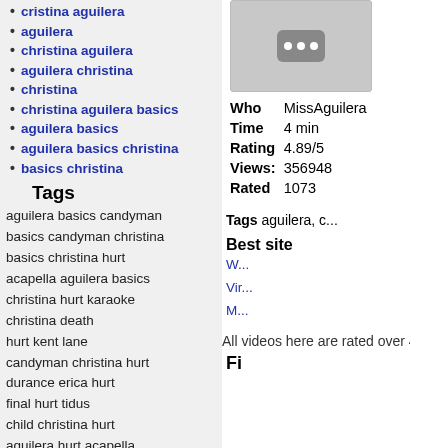cristina aguilera
aguilera
christina aguilera
aguilera christina
christina
christina aguilera basics
aguilera basics
aguilera basics christina
basics christina
Tags
aguilera basics candyman basics candyman christina basics christina hurt acapella aguilera basics christina hurt karaoke christina death hurt kent lane candyman christina hurt durance erica hurt final hurt tidus child christina hurt aguilera hurt acapella hurt wetten dass kent lane lois christina hurt narusasu erica hurt kent hurt tidus yuna christina aguilera day
[Figure (illustration): Placeholder image with robot/dots icon in gray]
| Who | MissAguilera |
| Time | 4 min |
| Rating | 4.89/5 |
| Views: | 356948 |
| Rated | 1073 |
Tags aguilera, c...
Best site
W...
Vir...
M...
All videos here are rated over 4
Fi